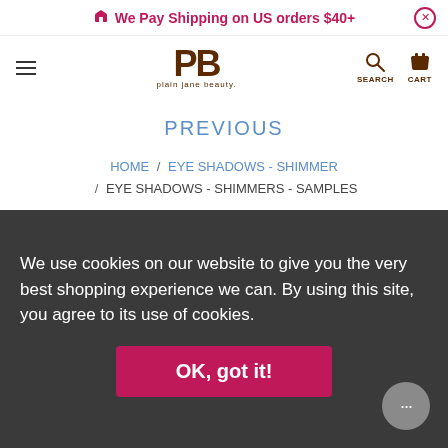We Pay Shipping on US orders $40+
[Figure (logo): Plain Jane Beauty logo with PB monogram in brown and text 'plain jane beauty.']
PREVIOUS
HOME / EYE SHADOWS - SHIMMER / EYE SHADOWS - SHIMMERS - SAMPLES
We use cookies on our website to give you the very best shopping experience we can. By using this site, you agree to its use of cookies.
OK, got it!